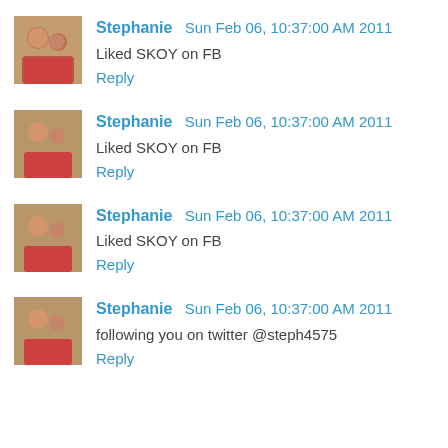Stephanie  Sun Feb 06, 10:37:00 AM 2011
Liked SKOY on FB
Reply
Stephanie  Sun Feb 06, 10:37:00 AM 2011
Liked SKOY on FB
Reply
Stephanie  Sun Feb 06, 10:37:00 AM 2011
Liked SKOY on FB
Reply
Stephanie  Sun Feb 06, 10:37:00 AM 2011
following you on twitter @steph4575
Reply